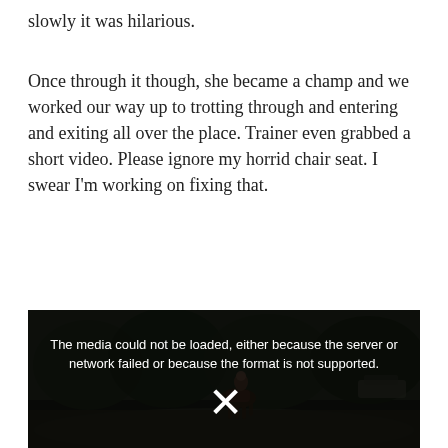slowly it was hilarious.
Once through it though, she became a champ and we worked our way up to trotting through and entering and exiting all over the place. Trainer even grabbed a short video. Please ignore my horrid chair seat. I swear I'm working on fixing that.
[Figure (photo): A person riding a horse on a road outdoors, with trees in the background. The video player shows an error message: 'The media could not be loaded, either because the server or network failed or because the format is not supported.' with an X icon overlay.]